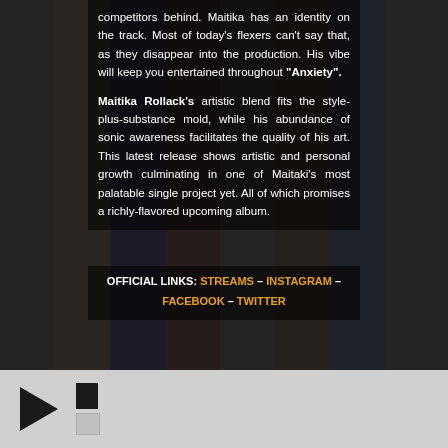competitors behind. Maitika has an identity on the track. Most of today's flexers can't say that, as they disappear into the production. His vibe will keep you entertained throughout "Anxiety".
Maitika Rollack's artistic blend fits the style-plus-substance mold, while his abundance of sonic awareness facilitates the quality of his art. This latest release shows artistic and personal growth culminating in one of Maitaki's most palatable single project yet. All of which promises a richly-flavored upcoming album.
OFFICIAL LINKS: STREAMS – INSTAGRAM – FACEBOOK – TWITTER
[Figure (other): Music player control bar with play button and track icon on light gray background]